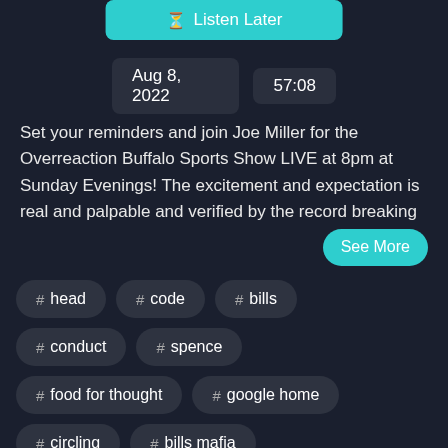Listen Later
Aug 8, 2022   57:08
Set your reminders and join Joe Miller for the Overreaction Buffalo Sports Show LIVE at 8pm at Sunday Evenings! The excitement and expectation is real and palpable and verified by the record breaking
See More
# head
# code
# bills
# conduct
# spence
# food for thought
# google home
# circling
# bills mafia